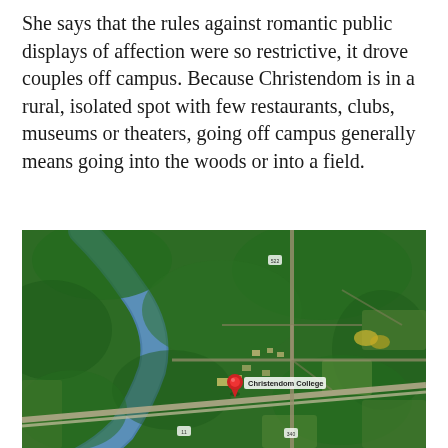She says that the rules against romantic public displays of affection were so restrictive, it drove couples off campus. Because Christendom is in a rural, isolated spot with few restaurants, clubs, museums or theaters, going off campus generally means going into the woods or into a field.
[Figure (map): Google Maps satellite aerial view showing Christendom College marked with a red pin in a rural, wooded area with a river curving through the landscape. The label 'Christendom College' appears next to the red marker.]